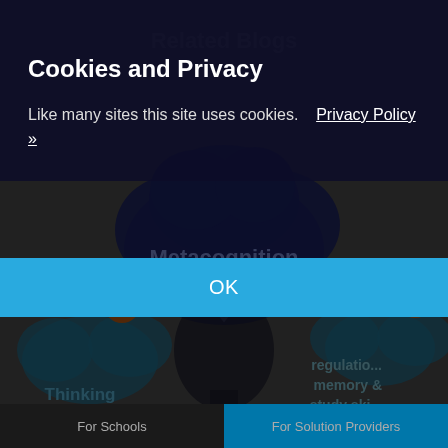Related Blogs
[Figure (screenshot): Background of a website showing a dark navy cloud shape with 'Metacognition' text, an infographic with teal speech clouds and a silhouette head, plus partial text 'Thinking', 'regulation', 'memory &', 'study ski...' overlaid with dark semi-transparent overlay]
Cookies and Privacy
Like many sites this site uses cookies.    Privacy Policy »
OK
For Schools     For Solution Providers